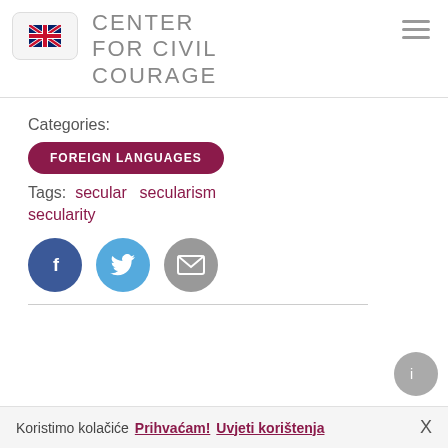CENTER FOR CIVIL COURAGE
Categories:
FOREIGN LANGUAGES
Tags: secular secularism secularity
[Figure (infographic): Three social share buttons: Facebook (dark blue circle with 'f'), Twitter (light blue circle with bird), Email (grey circle with envelope)]
Koristimo kolačiće  Prihvaćam!  Uvjeti korištenja  X